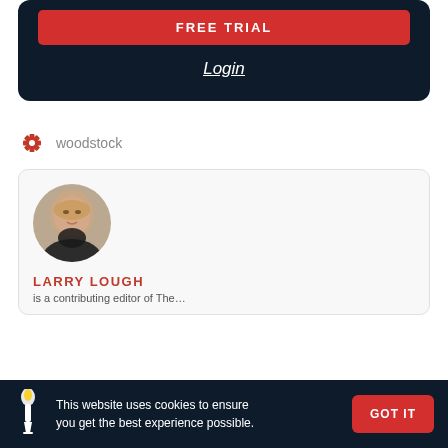[Figure (screenshot): Dark navy card UI with red FREE TRIAL button and italic underlined Login link below]
Login
woodstock
[Figure (photo): Profile card for Larry Lough with headshot photo of older man]
LARRY LOUGH
This website uses cookies to ensure you get the best experience possible.
GOT IT